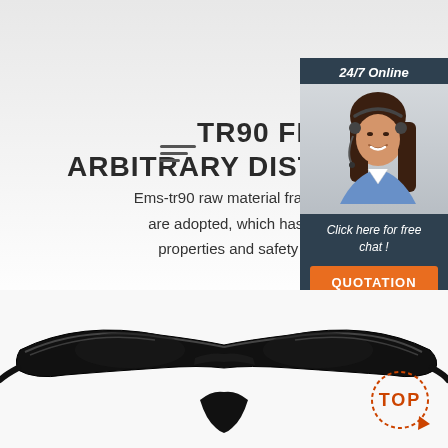TR90 FRAME ARBITRARY DISTORTION OF M
[Figure (infographic): Menu/hamburger icon with three lines of decreasing width]
Ems-tr90 raw material frame and pain are adopted, which has strong ph properties and safety protecti
[Figure (screenshot): 24/7 Online chat widget with female agent photo wearing headset, 'Click here for free chat!' text, and orange QUOTATION button]
[Figure (photo): Black TR90 safety glasses frame bottom view with red arrow pointing left and TOP badge in bottom right corner]